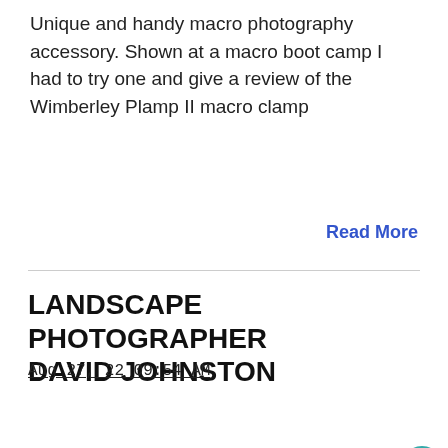Unique and handy macro photography accessory. Shown at a macro boot camp I had to try one and give a review of the Wimberley Plamp II macro clamp
Read More
LANDSCAPE PHOTOGRAPHER DAVID JOHNSTON
Aug 27, 22 09:54 AM
[Figure (photo): Partial photo of a person wearing a blue cap outdoors with green/brown background]
Search for
1. ONLINE PHOTO GALLERY
2. PHOTOGRAPHY JOBS ONLINE
Yahoo! Search | Sponsored